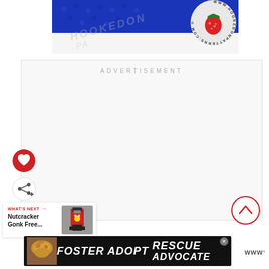[Figure (photo): Top portion of a crochet item with blue yarn and a circular logo watermark reading www.hookedonpatterns.com with a red strawberry graphic]
ADVERTISEMENT
[Figure (infographic): Red circular heart/favorite button (FAB)]
[Figure (infographic): White circular share button (FAB)]
[Figure (infographic): WHAT'S NEXT → Nutcracker Gonk Free... with thumbnail image]
[Figure (infographic): Red circle scroll-to-top button with upward chevron]
FOSTER ADOPT RESCUE ADVOCATE — banner advertisement with a dog photo